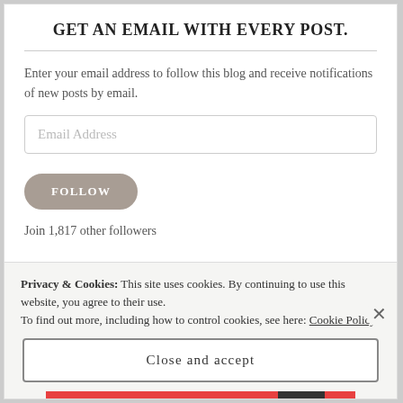GET AN EMAIL WITH EVERY POST.
Enter your email address to follow this blog and receive notifications of new posts by email.
Email Address
FOLLOW
Join 1,817 other followers
Privacy & Cookies: This site uses cookies. By continuing to use this website, you agree to their use.
To find out more, including how to control cookies, see here: Cookie Policy
Close and accept